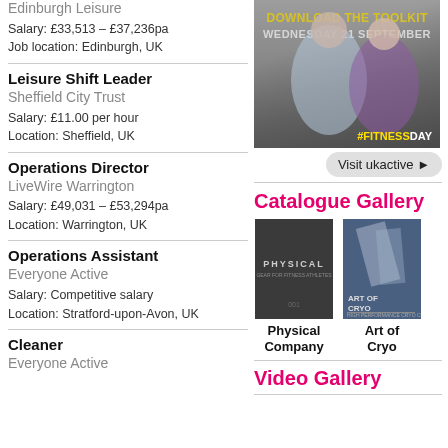Edinburgh Leisure
Salary: £33,513 – £37,236pa
Job location: Edinburgh, UK
Leisure Shift Leader
Sheffield City Trust
Salary: £11.00 per hour
Location: Sheffield, UK
Operations Director
LiveWire Warrington
Salary: £49,031 – £53,294pa
Location: Warrington, UK
Operations Assistant
Everyone Active
Salary: Competitive salary
Location: Stratford-upon-Avon, UK
Cleaner
Everyone Active
[Figure (photo): Fitness advertisement with text DOWNLOAD THE TOOLKIT WEDNESDAY 21 SEPTEMBER and #FITNESSDAY hashtag]
Visit ukactive ▶
Catalogue Gallery
[Figure (photo): Physical Company catalogue cover – dark grey background with white text]
Physical Company
[Figure (photo): Art of Cryo catalogue cover – blue toned architectural image]
Art of Cryo
Video Gallery